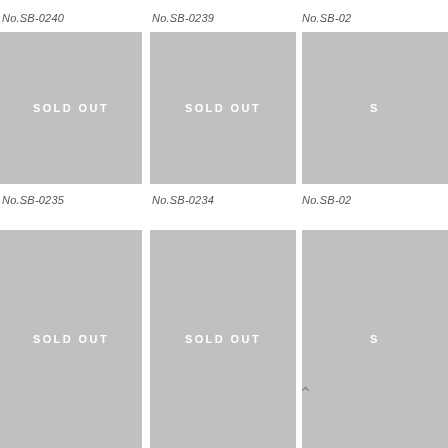No.SB-0240
No.SB-0239
No.SB-02
[Figure (other): Sold out product image placeholder - gray square with SOLD OUT text]
[Figure (other): Sold out product image placeholder - gray square with SOLD OUT text]
[Figure (other): Sold out product image placeholder - gray square, partially cropped]
No.SB-0235
No.SB-0234
No.SB-02
[Figure (other): Sold out product image placeholder - gray square with SOLD OUT text]
[Figure (other): Sold out product image placeholder - gray square with SOLD OUT text]
[Figure (other): Sold out product image placeholder - gray square, partially cropped]